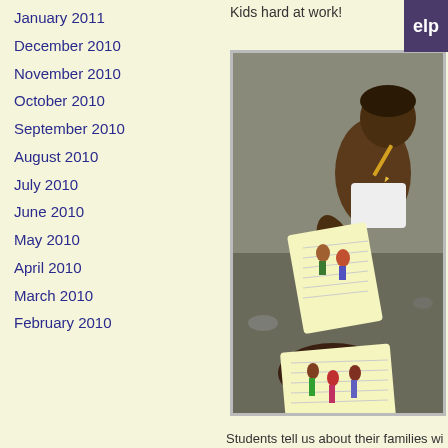January 2011
December 2010
November 2010
October 2010
September 2010
August 2010
July 2010
June 2010
May 2010
April 2010
March 2010
February 2010
Kids hard at work!
[Figure (photo): Children sitting on the ground drawing colorful pictures in notebooks, working on an art or storytelling activity outdoors.]
Students tell us about their families wi